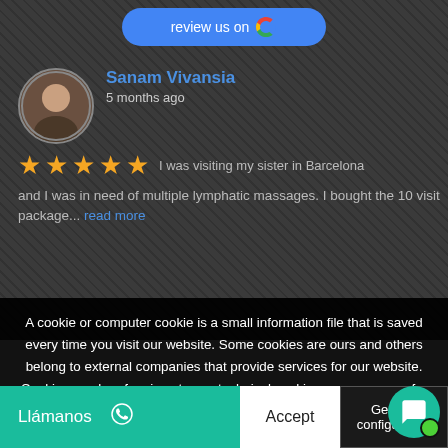[Figure (screenshot): Blue Google review button with 'review us on G' text and Google G logo]
Sanam Vivansia
5 months ago
★★★★★ I was visiting my sister in Barcelona and I was in need of multiple lymphatic massages. I bought the 10 visit package... read more
A cookie or computer cookie is a small information file that is saved every time you visit our website. Some cookies are ours and others belong to external companies that provide services for our website. Cookies can be of various types: technical cookies are necessary for our website to function. Other cookies serve to improve our page, personalize it or show you advertising tailored to your searches and interests. You can accept all these cookies by pressing the ACCEPT button or configure or reject their use by clicking on the COOKIE SETTINGS section.
For more information, see the Cookies Policy on our website.
Llámanos
Accept
General configuration